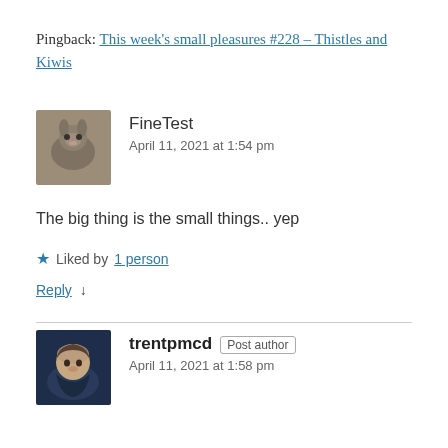Pingback: This week's small pleasures #228 – Thistles and Kiwis
[Figure (photo): Avatar image of a rabbit/hare, gray-brown colored, small square photo]
FineTest
April 11, 2021 at 1:54 pm
The big thing is the small things.. yep
★ Liked by 1 person
Reply ↓
[Figure (photo): Avatar image of a person with curly hair, dark background, small square photo]
trentpmcd Post author
April 11, 2021 at 1:58 pm